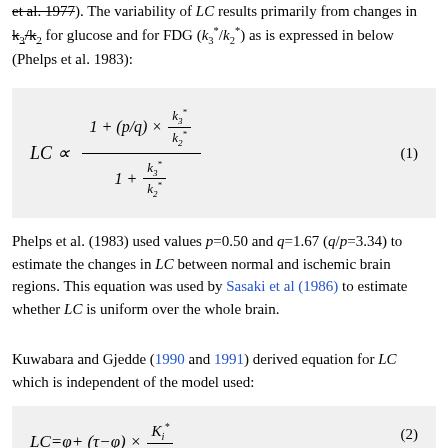et al. 1977). The variability of LC results primarily from changes in k3/k2 for glucose and for FDG (k3*/k2*) as is expressed in below (Phelps et al. 1983):
Phelps et al. (1983) used values p=0.50 and q=1.67 (q/p=3.34) to estimate the changes in LC between normal and ischemic brain regions. This equation was used by Sasaki et al (1986) to estimate whether LC is uniform over the whole brain.
Kuwabara and Gjedde (1990 and 1991) derived equation for LC which is independent of the model used: